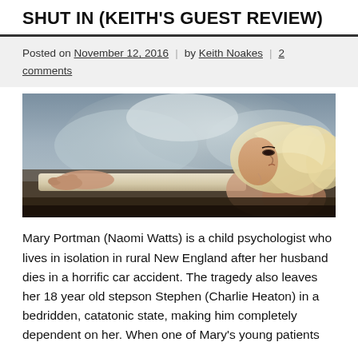SHUT IN (KEITH'S GUEST REVIEW)
Posted on November 12, 2016 | by Keith Noakes | 2 comments
[Figure (photo): A blonde woman lying back in a bathtub, looking upward, against a moody grey cloudy background. Movie still from 'Shut In'.]
Mary Portman (Naomi Watts) is a child psychologist who lives in isolation in rural New England after her husband dies in a horrific car accident. The tragedy also leaves her 18 year old stepson Stephen (Charlie Heaton) in a bedridden, catatonic state, making him completely dependent on her. When one of Mary's young patients